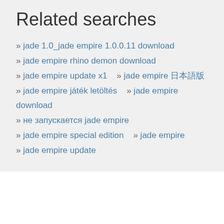Related searches
» jade 1.0_jade empire 1.0.0.11 download
» jade empire rhino demon download
» jade empire update x1    » jade empire 日本語版
» jade empire játék letöltés    » jade empire download
» не запускается jade empire
» jade empire special edition    » jade empire
» jade empire update